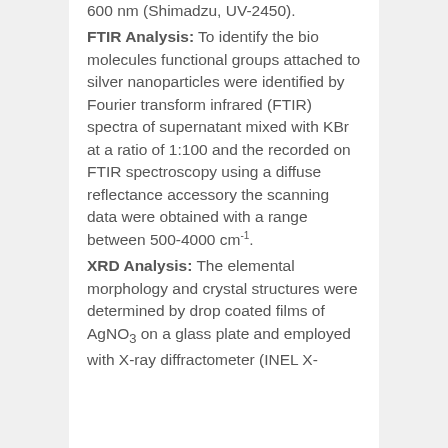600 nm (Shimadzu, UV 2450).
FTIR Analysis: To identify the bio molecules functional groups attached to silver nanoparticles were identified by Fourier transform infrared (FTIR) spectra of supernatant mixed with KBr at a ratio of 1:100 and the recorded on FTIR spectroscopy using a diffuse reflectance accessory the scanning data were obtained with a range between 500-4000 cm⁻¹.
XRD Analysis: The elemental morphology and crystal structures were determined by drop coated films of AgNO₃ on a glass plate and employed with X-ray diffractometer (INEL X-